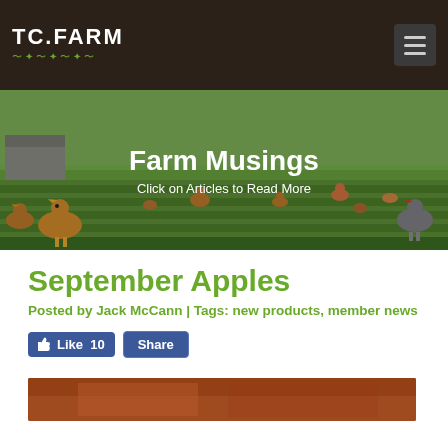TC.FARM
[Figure (photo): Farm field with free-range chickens roaming green vegetation, outdoor farm setting]
Farm Musings
Click on Articles to Read More
September Apples
Posted by Jack McCann | Tags: new products, member news
[Figure (screenshot): Facebook Like button showing 10 likes and a Share button]
[Figure (photo): Close-up of reddish-brown farm surface or apples, partially visible at bottom of page]